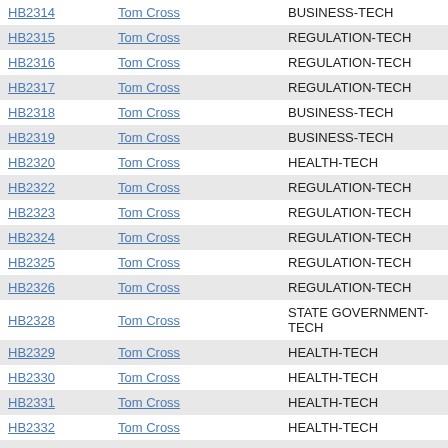| HB2314 | Tom Cross | BUSINESS-TECH |
| HB2315 | Tom Cross | REGULATION-TECH |
| HB2316 | Tom Cross | REGULATION-TECH |
| HB2317 | Tom Cross | REGULATION-TECH |
| HB2318 | Tom Cross | BUSINESS-TECH |
| HB2319 | Tom Cross | BUSINESS-TECH |
| HB2320 | Tom Cross | HEALTH-TECH |
| HB2322 | Tom Cross | REGULATION-TECH |
| HB2323 | Tom Cross | REGULATION-TECH |
| HB2324 | Tom Cross | REGULATION-TECH |
| HB2325 | Tom Cross | REGULATION-TECH |
| HB2326 | Tom Cross | REGULATION-TECH |
| HB2328 | Tom Cross | STATE GOVERNMENT-TECH |
| HB2329 | Tom Cross | HEALTH-TECH |
| HB2330 | Tom Cross | HEALTH-TECH |
| HB2331 | Tom Cross | HEALTH-TECH |
| HB2332 | Tom Cross | HEALTH-TECH |
| HB2333 | Tom Cross | HEALTH-TECH |
| HB2334 | Tom Cross | BUSINESS-TECH |
| HB2335 | Tom Cross | GOVERNMENT-TECH |
| HB2336 | Tom Cross | GOVERNMENT-TECH |
| HB2337 | Tom Cross | GOVERNMENT-TECH |
| HB2338 | Tom Cross | GOVERNMENT-TECH |
| HB2339 | Tom Cross | GOVERNMENT-TECH |